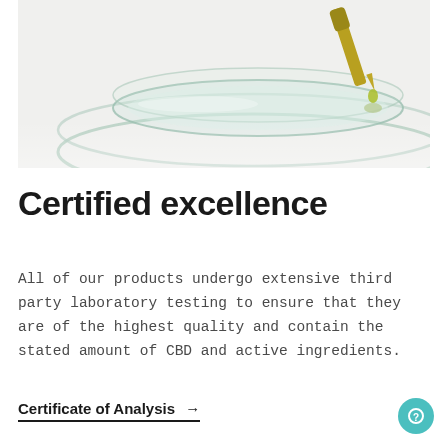[Figure (photo): Close-up photo of a glass dropper dispensing an olive/golden oil drop onto a glass petri dish, with another petri dish below it, on a white background.]
Certified excellence
All of our products undergo extensive third party laboratory testing to ensure that they are of the highest quality and contain the stated amount of CBD and active ingredients.
Certificate of Analysis →